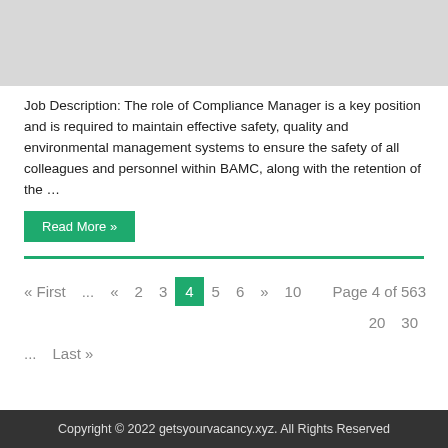[Figure (photo): Gray placeholder image at the top of the page]
Job Description: The role of Compliance Manager is a key position and is required to maintain effective safety, quality and environmental management systems to ensure the safety of all colleagues and personnel within BAMC, along with the retention of the …
Read More »
« First  ...  «  2  3  4  5  6  »  10  Page 4 of 563  20  30
...  Last »
Copyright © 2022 getsyourvacancy.xyz. All Rights Reserved